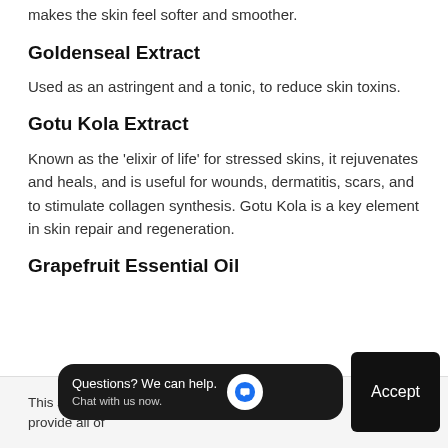makes the skin feel softer and smoother.
Goldenseal Extract
Used as an astringent and a tonic, to reduce skin toxins.
Gotu Kola Extract
Known as the 'elixir of life' for stressed skins, it rejuvenates and heals, and is useful for wounds, dermatitis, scars, and to stimulate collagen synthesis. Gotu Kola is a key element in skin repair and regeneration.
Grapefruit Essential Oil
This site requi... provide all of...
Questions? We can help. Chat with us now.